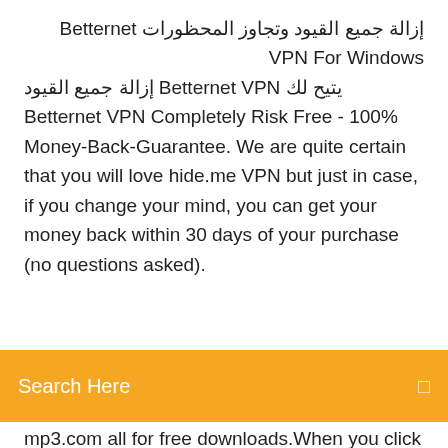إزالة جميع القيود وتجاوز المحظورات Betternet VPN For Windows يتيح لك Betternet VPN إزالة جميع القيود Completely Risk Free - 100% Money-Back-Guarantee. We are quite certain that you will love hide.me VPN but just in case, if you change your mind, you can get your money back within 30 days of your purchase (no questions asked).
Search Here
mp3.com all for free downloads.When you click on a song, you will be redirected to a sharing site where you will be able to preview and download the music at the spot! Remember, if you like the songs you hear, go buy the album when it comes out. These songs are for promotional use only and should not be used for anything else but to promote ۲ مطلب با کلمه‌ی کلیدی «vybz kartel» ثبت شده است - جدیدترین و زیباترین آهنگ های Download و کیفیت 320 و به همراه متن mp3 خارجی با فرمت Tommy Lee Sparta songs, singles and albums on MP3. Over one million legal MP3 tracks available at Juno Download.